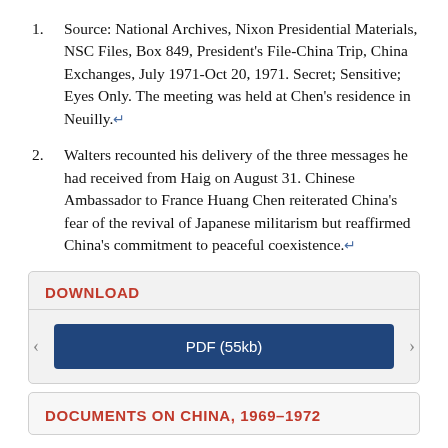Source: National Archives, Nixon Presidential Materials, NSC Files, Box 849, President's File-China Trip, China Exchanges, July 1971-Oct 20, 1971. Secret; Sensitive; Eyes Only. The meeting was held at Chen's residence in Neuilly.↵
Walters recounted his delivery of the three messages he had received from Haig on August 31. Chinese Ambassador to France Huang Chen reiterated China's fear of the revival of Japanese militarism but reaffirmed China's commitment to peaceful coexistence.↵
DOWNLOAD
PDF (55kb)
DOCUMENTS ON CHINA, 1969–1972